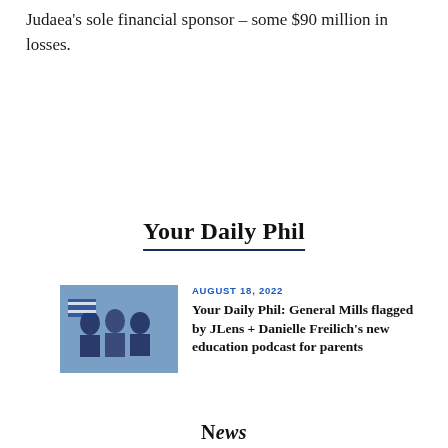Judaea's sole financial sponsor – some $90 million in losses.
Your Daily Phil
AUGUST 18, 2022
Your Daily Phil: General Mills flagged by JLens + Danielle Freilich's new education podcast for parents
[Figure (photo): Thumbnail photo showing people at an event, with Israeli-themed imagery in blue and white]
N...